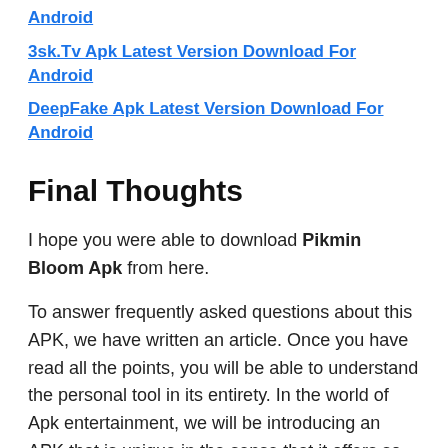Android
3sk.Tv Apk Latest Version Download For Android
DeepFake Apk Latest Version Download For Android
Final Thoughts
I hope you were able to download Pikmin Bloom Apk from here.
To answer frequently asked questions about this APK, we have written an article. Once you have read all the points, you will be able to understand the personal tool in its entirety. In the world of Apk entertainment, we will be introducing an APK that is unique in the sense that it offers so many features and is so varied. In the event that you are done with